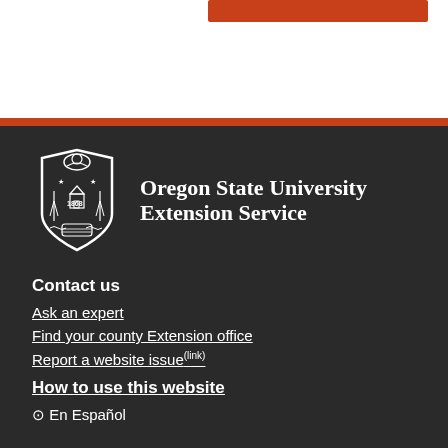[Figure (logo): Oregon State University Extension Service logo with university seal]
Contact us
Ask an expert
Find your county Extension office
Report a website issue (link)
How to use this website
En Español